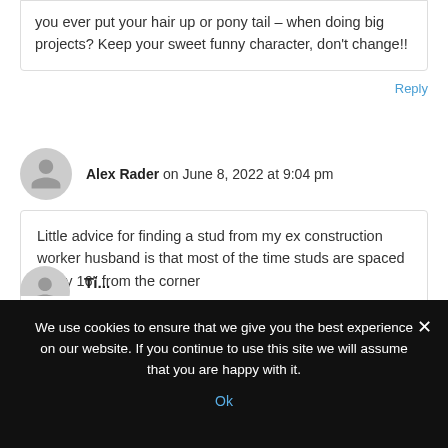you ever put your hair up or pony tail – when doing big projects? Keep your sweet funny character, don't change!!
Reply
Alex Rader on June 8, 2022 at 9:04 pm
Little advice for finding a stud from my ex construction worker husband is that most of the time studs are spaced every 16" from the corner
Reply
We use cookies to ensure that we give you the best experience on our website. If you continue to use this site we will assume that you are happy with it.
Ok